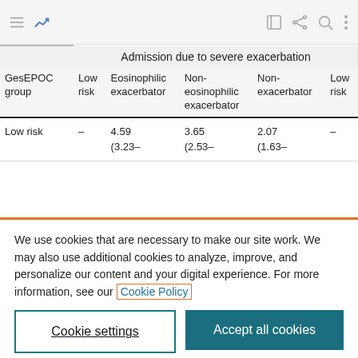Navigation bar with menu, chart icon, edit, share, search, more icons
| GesEPOC group | Low risk | Eosinophilic exacerbator | Non-eosinophilic exacerbator | Non-exacerbator | Low risk |
| --- | --- | --- | --- | --- | --- |
| Low risk | – | 4.59 (3.23– | 3.65 (2.53– | 2.07 (1.63– | – |
We use cookies that are necessary to make our site work. We may also use additional cookies to analyze, improve, and personalize our content and your digital experience. For more information, see our Cookie Policy
Cookie settings
Accept all cookies